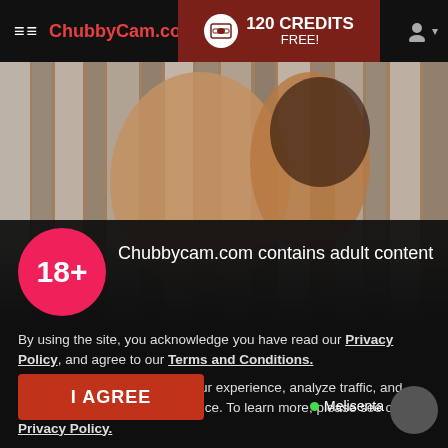≡≡ ChubbyCam.com | 120 CREDITS FREE!
[Figure (photo): Background photo of a person in a studio setting with metallic/silver background]
Chubbycam.com contains adult content
By using the site, you acknowledge you have read our Privacy Policy, and agree to our Terms and Conditions.
We use cookies to optimize your experience, analyze traffic, and deliver more personalized service. To learn more, please see our Privacy Policy.
I AGREE